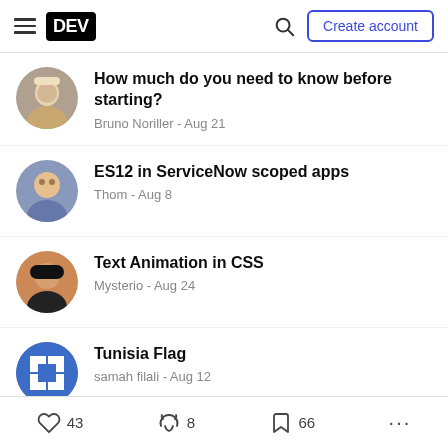DEV — Create account
How much do you need to know before starting? — Bruno Noriller - Aug 21
ES12 in ServiceNow scoped apps — Thom - Aug 8
Text Animation in CSS — Mysterio - Aug 24
Tunisia Flag — samah filali - Aug 12
43 reactions · 8 · 66 bookmarks